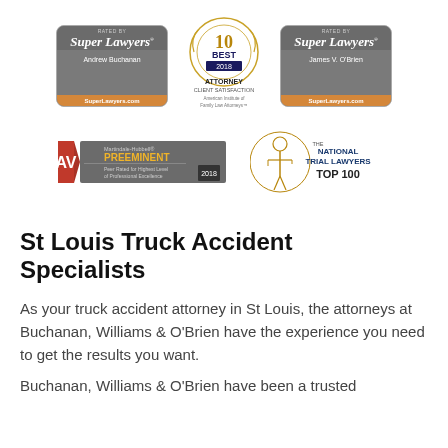[Figure (logo): Super Lawyers badge for Andrew Buchanan]
[Figure (logo): 10 Best 2018 Attorney Client Satisfaction - American Institute of Family Law Attorneys badge]
[Figure (logo): Super Lawyers badge for James V. O'Brien]
[Figure (logo): Martindale-Hubbell AV Preeminent Peer Rated for Highest Level of Professional Excellence 2018 badge]
[Figure (logo): The National Trial Lawyers Top 100 badge]
St Louis Truck Accident Specialists
As your truck accident attorney in St Louis, the attorneys at Buchanan, Williams & O'Brien have the experience you need to get the results you want.
Buchanan, Williams & O'Brien have been a trusted